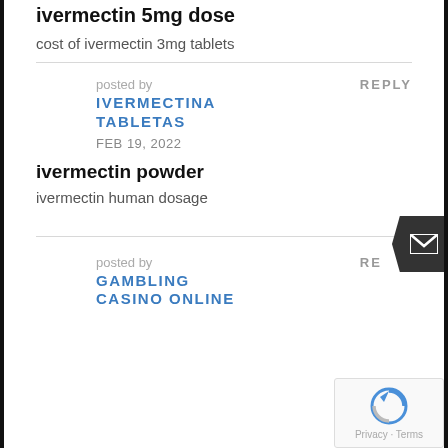ivermectin 5mg dose
cost of ivermectin 3mg tablets
posted by
IVERMECTINA TABLETAS
FEB 19, 2022
REPLY
ivermectin powder
ivermectin human dosage
posted by
GAMBLING CASINO ONLINE
RE